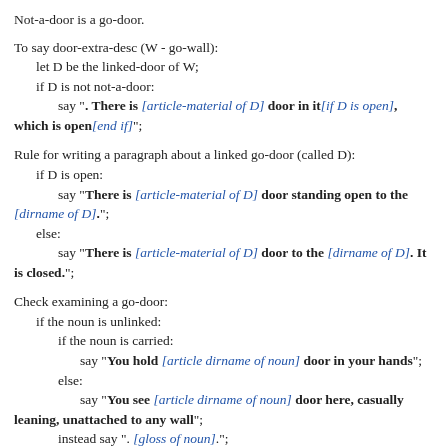Not-a-door is a go-door.
To say door-extra-desc (W - go-wall):
    let D be the linked-door of W;
    if D is not not-a-door:
        say ". There is [article-material of D] door in it[if D is open], which is open[end if]";
Rule for writing a paragraph about a linked go-door (called D):
    if D is open:
        say "There is [article-material of D] door standing open to the [dirname of D].";
    else:
        say "There is [article-material of D] door to the [dirname of D]. It is closed.";
Check examining a go-door:
    if the noun is unlinked:
        if the noun is carried:
            say "You hold [article dirname of noun] door in your hands";
        else:
            say "You see [article dirname of noun] door here, casually leaning, unattached to any wall";
        instead say ". [gloss of noun].";